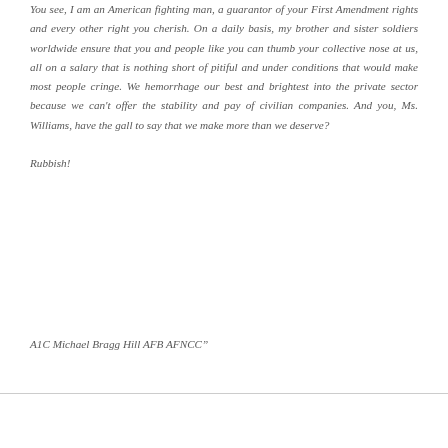You see, I am an American fighting man, a guarantor of your First Amendment rights and every other right you cherish. On a daily basis, my brother and sister soldiers worldwide ensure that you and people like you can thumb your collective nose at us, all on a salary that is nothing short of pitiful and under conditions that would make most people cringe. We hemorrhage our best and brightest into the private sector because we can't offer the stability and pay of civilian companies. And you, Ms. Williams, have the gall to say that we make more than we deserve?

Rubbish!
A1C Michael Bragg Hill AFB AFNCC"